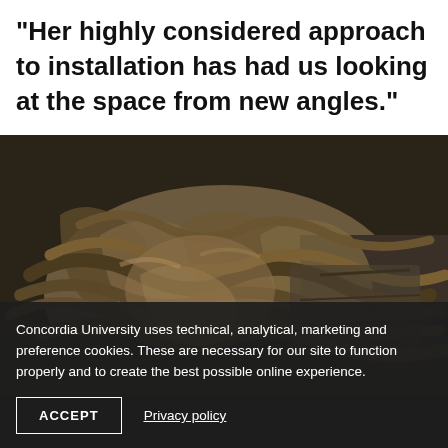"Her highly considered approach to installation has had us looking at the space from new angles."
[Figure (photo): Photograph of tangled tree roots or rope-like natural material piled on the ground, viewed from above, against a dark earthy background.]
Concordia University uses technical, analytical, marketing and preference cookies. These are necessary for our site to function properly and to create the best possible online experience.
ACCEPT
Privacy policy